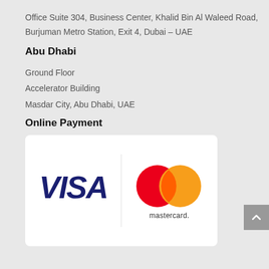Office Suite 304, Business Center, Khalid Bin Al Waleed Road, Burjuman Metro Station, Exit 4, Dubai – UAE
Abu Dhabi
Ground Floor
Accelerator Building
Masdar City, Abu Dhabi, UAE
Online Payment
[Figure (logo): Payment methods card showing VISA and Mastercard logos side by side with a vertical divider]